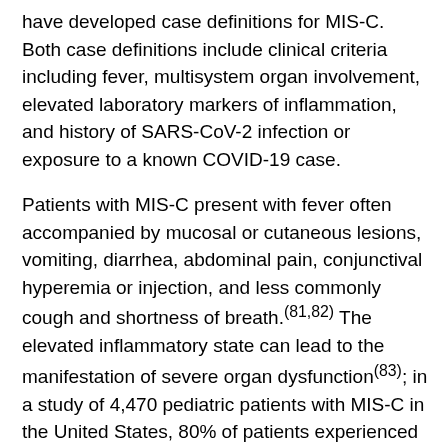have developed case definitions for MIS-C. Both case definitions include clinical criteria including fever, multisystem organ involvement, elevated laboratory markers of inflammation, and history of SARS-CoV-2 infection or exposure to a known COVID-19 case.
Patients with MIS-C present with fever often accompanied by mucosal or cutaneous lesions, vomiting, diarrhea, abdominal pain, conjunctival hyperemia or injection, and less commonly cough and shortness of breath.(81,82) The elevated inflammatory state can lead to the manifestation of severe organ dysfunction(83); in a study of 4,470 pediatric patients with MIS-C in the United States, 80% of patients experienced severe cardiovascular symptoms, 74% mucocutaneous symptoms, 60% severe hematologic symptoms, 44% severe respiratory symptoms, and 25% severe gastrointestinal symptoms.(82)